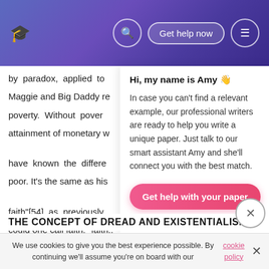Get help now
by paradox, applied to Maggie and Big Daddy re poverty. Without pover attainment of monetary w have known the differe poor. It's the same as his faith”[54] as previously could one call faith, “faith... Ergo, there is no wealth without poverty.
[Figure (screenshot): Chat assistant popup with Amy introducing herself, offering help finding a relevant example with professional writers, and a pink 'Get help with your paper' button]
THE CONCEPT OF DREAD AND EXISTENTIALISM
We use cookies to give you the best experience possible. By continuing we’ll assume you’re on board with our cookie policy